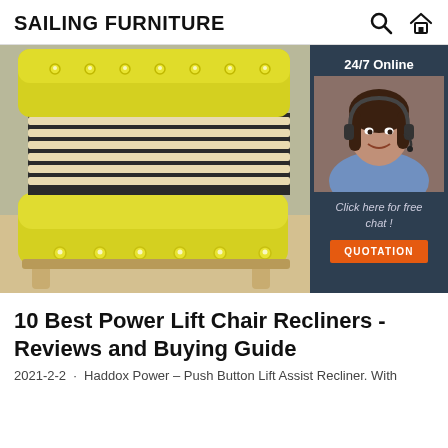SAILING FURNITURE
[Figure (photo): Yellow upholstered bed frame with tufted headboard and footboard, wooden slats visible, light wood legs, on a light floor. Overlapping ad panel with '24/7 Online' text, a woman with headset, 'Click here for free chat!' and QUOTATION button.]
10 Best Power Lift Chair Recliners - Reviews and Buying Guide
2021-2-2 · Haddox Power – Push Button Lift Assist Recliner. With